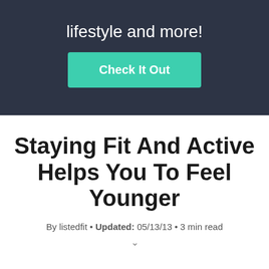lifestyle and more!
Check It Out
Staying Fit And Active Helps You To Feel Younger
By listedfit • Updated: 05/13/13 • 3 min read